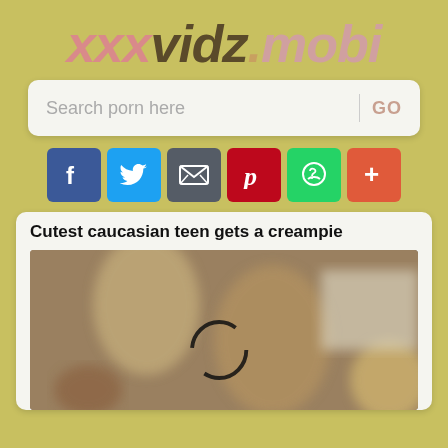xxxvidz.mobi
Search porn here
[Figure (screenshot): Social sharing icons: Facebook, Twitter, Email, Pinterest, WhatsApp, More]
Cutest caucasian teen gets a creampie
[Figure (photo): Blurred video thumbnail with loading spinner circle]